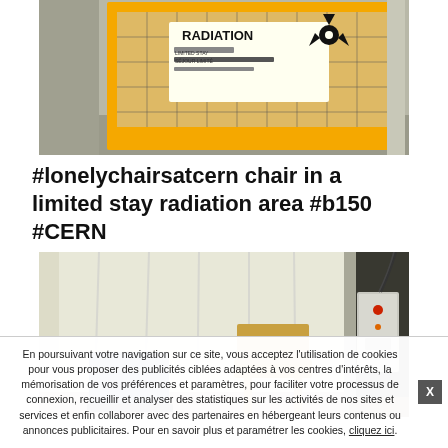[Figure (photo): Photo of a yellow radiation safety cage/enclosure with a RADIATION warning sign (radioactive symbol) and text reading 'LIMITED STAY / SÉJOUR LIMITÉ' at CERN facility.]
#lonelychairsatcern chair in a limited stay radiation area #b150 #CERN
[Figure (photo): Photo of a room at CERN with a white curtain backdrop, a lone wooden chair in the center, an electrical control box/panel on the right side with red indicator lights, and what appears to be a laptop or device on the left.]
En poursuivant votre navigation sur ce site, vous acceptez l'utilisation de cookies pour vous proposer des publicités ciblées adaptées à vos centres d'intérêts, la mémorisation de vos préférences et paramètres, pour faciliter votre processus de connexion, recueillir et analyser des statistiques sur les activités de nos sites et services et enfin collaborer avec des partenaires en hébergeant leurs contenus ou annonces publicitaires. Pour en savoir plus et paramétrer les cookies, cliquez ici.